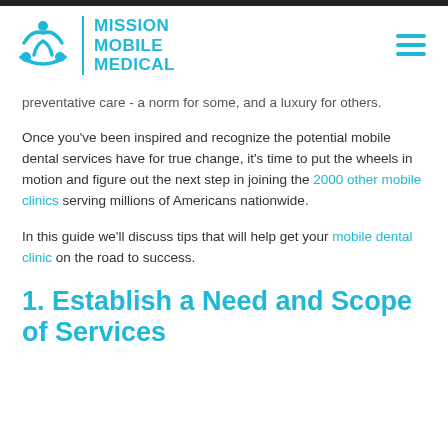Mission Mobile Medical
preventative care - a norm for some, and a luxury for others.
Once you've been inspired and recognize the potential mobile dental services have for true change, it's time to put the wheels in motion and figure out the next step in joining the 2000 other mobile clinics serving millions of Americans nationwide.
In this guide we'll discuss tips that will help get your mobile dental clinic on the road to success.
1. Establish a Need and Scope
of Services